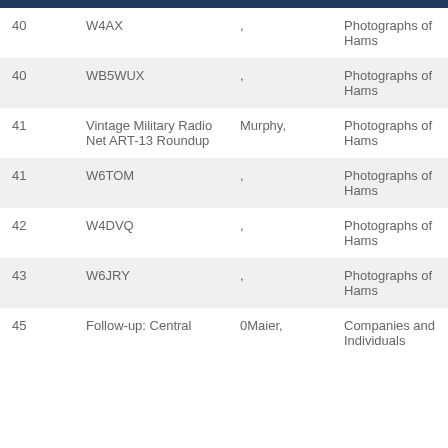| # | Title | Author | Category |
| --- | --- | --- | --- |
| 40 | W4AX | , | Photographs of Hams |
| 40 | WB5WUX | , | Photographs of Hams |
| 41 | Vintage Military Radio Net ART-13 Roundup | Murphy, | Photographs of Hams |
| 41 | W6TOM | , | Photographs of Hams |
| 42 | W4DVQ | , | Photographs of Hams |
| 43 | W6JRY | , | Photographs of Hams |
| 45 | Follow-up: Central | 0Maier, | Companies and Individuals |